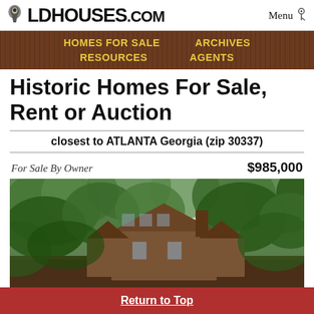OldHouses.com   Menu
HOMES FOR SALE   ARCHIVES   RESOURCES   AGENTS
Historic Homes For Sale, Rent or Auction
closest to ATLANTA Georgia (zip 30337)
For Sale By Owner   $985,000
[Figure (photo): Exterior photo of a historic Victorian-style brick home partially obscured by large green trees]
Return to Top